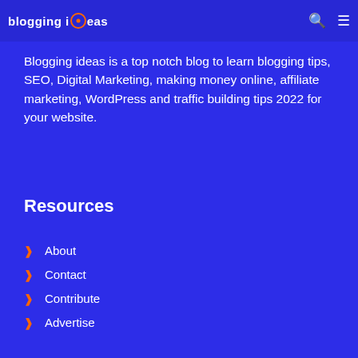blogging ideas
Blogging ideas is a top notch blog to learn blogging tips, SEO, Digital Marketing, making money online, affiliate marketing, WordPress and traffic building tips 2022 for your website.
Resources
About
Contact
Contribute
Advertise